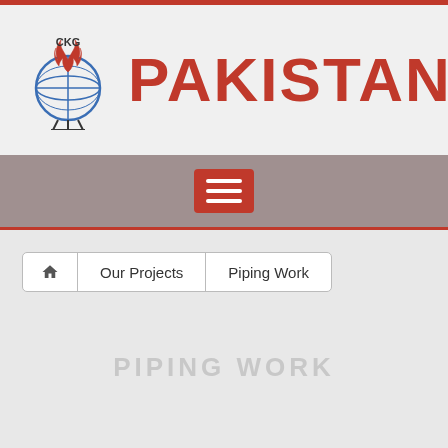[Figure (logo): CKG company logo with globe and flame icon, text 'CKG' at top]
PAKISTAN
[Figure (other): Hamburger menu button (three horizontal lines) in red on grey navigation bar]
Home (house icon) | Our Projects | Piping Work
PIPING WORK